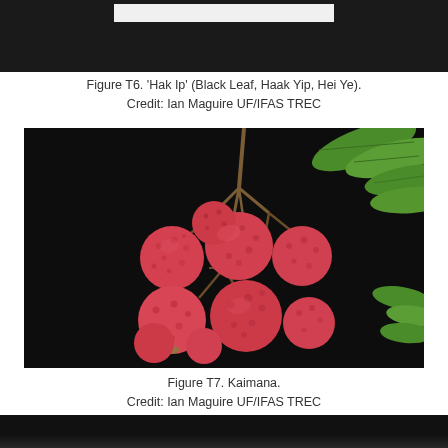[Figure (photo): Top portion of a photo showing a black background with a white strip/label at the top — partial view of figure T6 (Hak Ip lychee variety)]
Figure T6.  'Hak Ip' (Black Leaf, Haak Yip, Hei Ye).
Credit: Ian Maguire UF/IFAS TREC
[Figure (photo): Photograph of Kaimana lychee fruit hanging in a cluster against a black background, with green leaves visible on the right side. The fruits are round, red/pink with a bumpy skin texture, hanging from brown woody stems.]
Figure T7.  Kaimana.
Credit: Ian Maguire UF/IFAS TREC
[Figure (photo): Bottom partial view of another lychee variety photo, showing mostly black background with the beginning of a fruit or plant element visible at the bottom.]